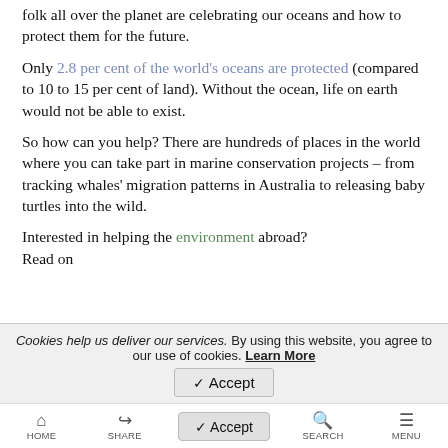folk all over the planet are celebrating our oceans and how to protect them for the future.
Only 2.8 per cent of the world’s oceans are protected (compared to 10 to 15 per cent of land). Without the ocean, life on earth would not be able to exist.
So how can you help? There are hundreds of places in the world where you can take part in marine conservation projects – from tracking whales’ migration patterns in Australia to releasing baby turtles into the wild.
Interested in helping the environment abroad? Read on
Cookies help us deliver our services. By using this website, you agree to our use of cookies. Learn More
HOME   SHARE   SEARCH   MENU